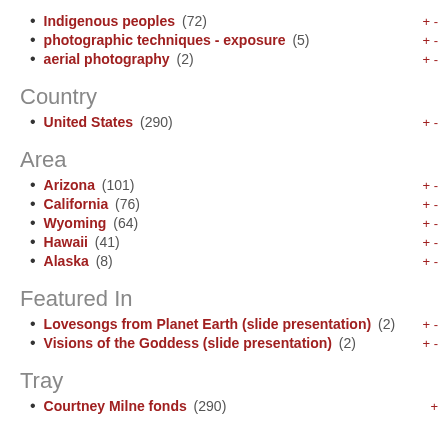Indigenous peoples (72)
photographic techniques - exposure (5)
aerial photography (2)
Country
United States (290)
Area
Arizona (101)
California (76)
Wyoming (64)
Hawaii (41)
Alaska (8)
Featured In
Lovesongs from Planet Earth (slide presentation) (2)
Visions of the Goddess (slide presentation) (2)
Tray
Courtney Milne fonds (290)